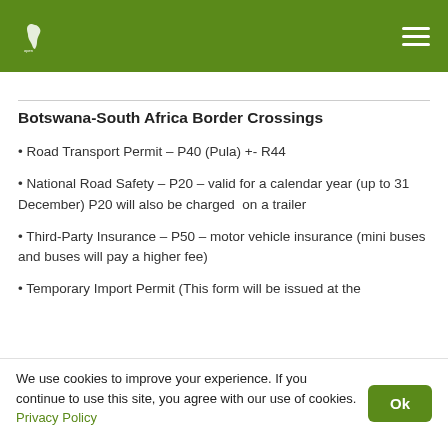Open Africa | Botswana-South Africa Border Crossings
Botswana-South Africa Border Crossings
Road Transport Permit – P40 (Pula) +- R44
National Road Safety – P20 – valid for a calendar year (up to 31 December) P20 will also be charged on a trailer
Third-Party Insurance – P50 – motor vehicle insurance (mini buses and buses will pay a higher fee)
Temporary Import Permit (This form will be issued at the
We use cookies to improve your experience. If you continue to use this site, you agree with our use of cookies. Privacy Policy